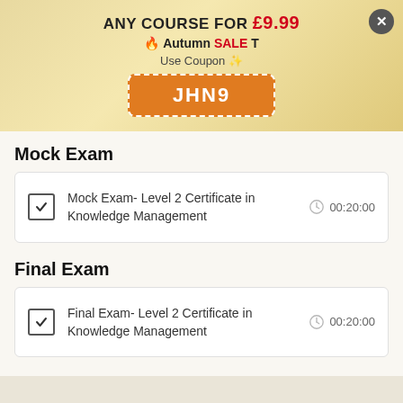[Figure (infographic): Promotional banner with golden gradient background, showing 'ANY COURSE FOR £9.99', Autumn SALE text with flame emoji, Use Coupon label, and coupon code JHN9 in orange dashed box. Close button (X) in top right.]
Mock Exam
| Mock Exam- Level 2 Certificate in Knowledge Management | 00:20:00 |
Final Exam
| Final Exam- Level 2 Certificate in Knowledge Management | 00:20:00 |